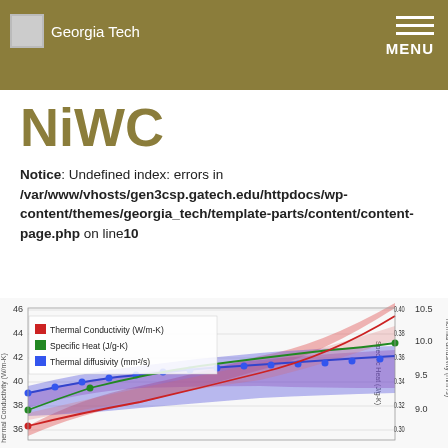Georgia Tech  MENU
NiWC
Notice: Undefined index: errors in /var/www/vhosts/gen3csp.gatech.edu/httpdocs/wp-content/themes/georgia_tech/template-parts/content/content-page.php on line 10
[Figure (continuous-plot): Multi-axis line/area chart showing Thermal Conductivity (W/m-K) on left y-axis (range ~36-46), Specific Heat (J/g-K) on middle y-axis (range ~0.30-0.40), and Thermal diffusivity (mm²/s) on right y-axis (range ~9.0-10.5). Three colored bands/lines: red (Thermal Conductivity), green (Specific Heat), blue (Thermal diffusivity). Legend in upper left of chart area.]